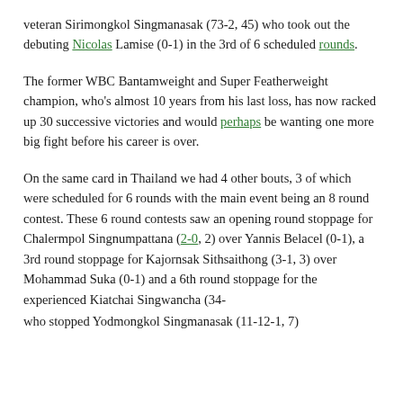veteran Sirimongkol Singmanasak (73-2, 45) who took out the debuting Nicolas Lamise (0-1) in the 3rd of 6 scheduled rounds.
The former WBC Bantamweight and Super Featherweight champion, who's almost 10 years from his last loss, has now racked up 30 successive victories and would perhaps be wanting one more big fight before his career is over.
On the same card in Thailand we had 4 other bouts, 3 of which were scheduled for 6 rounds with the main event being an 8 round contest. These 6 round contests saw an opening round stoppage for Chalermpol Singnumpattana (2-0, 2) over Yannis Belacel (0-1), a 3rd round stoppage for Kajornsak Sithsaithong (3-1, 3) over Mohammad Suka (0-1) and a 6th round stoppage for the experienced Kiatchai Singwancha (34- who stopped Yodmongkol Singmanasak (11-12-1, 7)
[Figure (screenshot): Infolinks advertisement bar with Official NFL Gear ad. Shows infolinks logo in dark bar, then white ad area with 'Official NFL Gear' headline in blue, 'Get Your Favorite Team's Gear Here' subtitle, 'www.nflshop.com' URL in green, a close button (X), and a blue circular arrow button.]